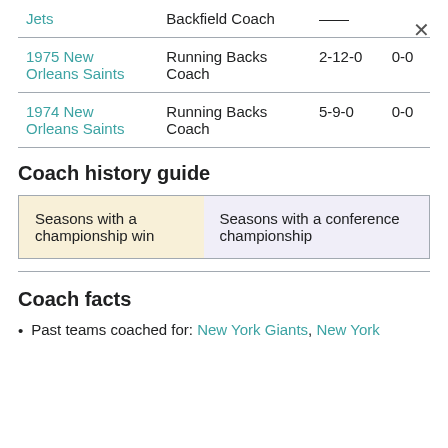| Team | Role | Record | Playoffs |
| --- | --- | --- | --- |
| Jets | Backfield Coach | — | — |
| 1975 New Orleans Saints | Running Backs Coach | 2-12-0 | 0-0 |
| 1974 New Orleans Saints | Running Backs Coach | 5-9-0 | 0-0 |
Coach history guide
| Seasons with a championship win | Seasons with a conference championship |
| --- | --- |
Coach facts
Past teams coached for: New York Giants, New York …